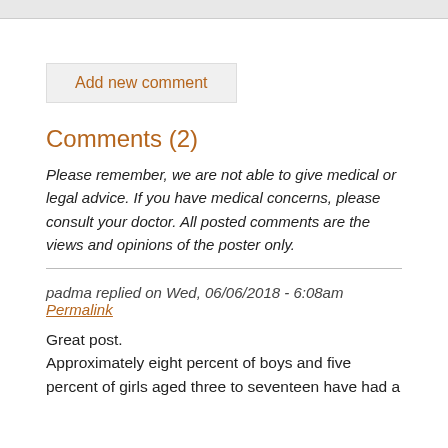Add new comment
Comments (2)
Please remember, we are not able to give medical or legal advice. If you have medical concerns, please consult your doctor. All posted comments are the views and opinions of the poster only.
padma replied on Wed, 06/06/2018 - 6:08am Permalink
Great post.
Approximately eight percent of boys and five percent of girls aged three to seventeen have had a